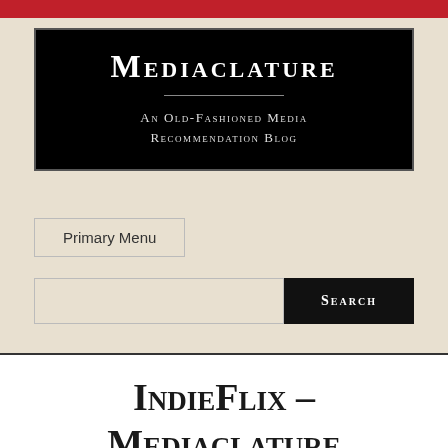[Figure (logo): Mediaclature blog logo — black rectangle with white title text 'Mediaclature' in small caps, horizontal divider, and subtitle 'An Old-Fashioned Media Recommendation Blog']
Primary Menu
Search
IndieFlix – Mediaclature